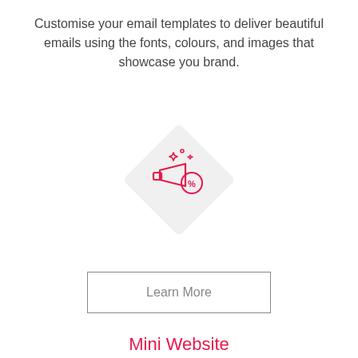Customise your email templates to deliver beautiful emails using the fonts, colours, and images that showcase you brand.
[Figure (illustration): A diamond/rhombus shaped light gray background with a red line-art icon of a megaphone with a percentage discount badge and stars, representing promotional email campaigns.]
Learn More
Mini Website
Generate more leads and convert them into bookings and sales with an on-brand landing page for your business.